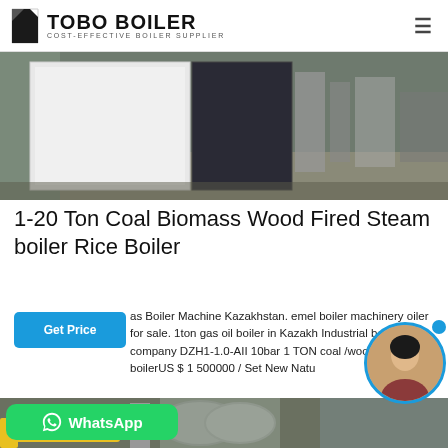TOBO BOILER COST-EFFECTIVE BOILER SUPPLIER
[Figure (photo): Industrial boilers / white and black metal units in a factory or warehouse setting]
1-20 Ton Coal Biomass Wood Fired Steam boiler Rice Boiler
as Boiler Machine Kazakhstan. emel boiler machinery oiler for sale. 1ton gas oil boiler in Kazakh Industrial boiler company DZH1-1.0-AII 10bar 1 TON coal /wood fired steam boilerUS $ 1 500000 / Set New Natu
[Figure (photo): Industrial boiler facility with pipes and yellow gas pipes visible, bottom portion of page]